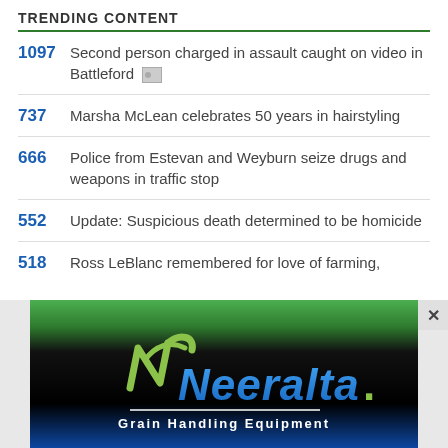TRENDING CONTENT
1097 Second person charged in assault caught on video in Battleford
737 Marsha McLean celebrates 50 years in hairstyling
666 Police from Estevan and Weyburn seize drugs and weapons in traffic stop
552 Update: Suspicious death determined to be homicide
518 Ross LeBlanc remembered for love of farming,
[Figure (logo): Neeralta Grain Handling Equipment advertisement banner with green, black and blue gradient background and Neeralta logo with stylized N mark]